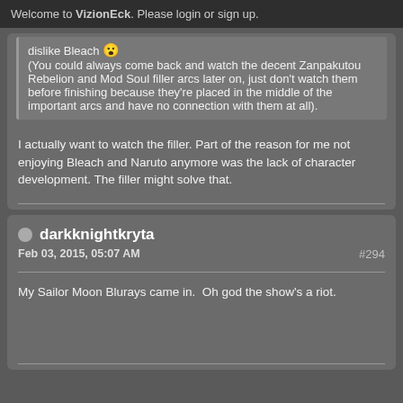Welcome to VizionEck. Please login or sign up.
dislike Bleach 😮
(You could always come back and watch the decent Zanpakutou Rebelion and Mod Soul filler arcs later on, just don't watch them before finishing because they're placed in the middle of the important arcs and have no connection with them at all).
I actually want to watch the filler. Part of the reason for me not enjoying Bleach and Naruto anymore was the lack of character development. The filler might solve that.
darkknightkryta
Feb 03, 2015, 05:07 AM
#294
My Sailor Moon Blurays came in.  Oh god the show's a riot.